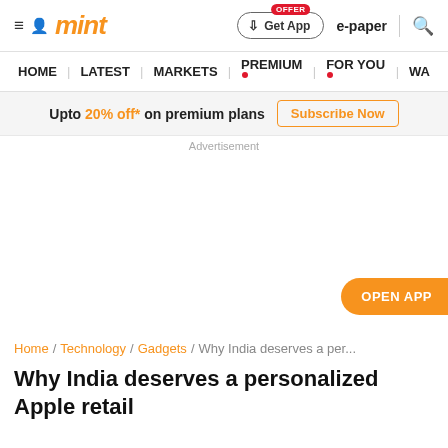mint
Upto 20% off* on premium plans  Subscribe Now
Advertisement
OPEN APP
Home / Technology / Gadgets / Why India deserves a per...
Why India deserves a personalized Apple retail